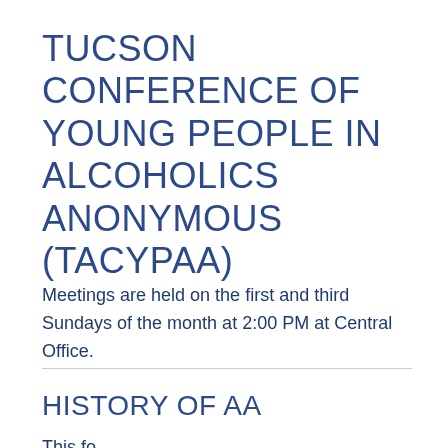TUCSON CONFERENCE OF YOUNG PEOPLE IN ALCOHOLICS ANONYMOUS (TACYPAA)
Meetings are held on the first and third Sundays of the month at 2:00 PM at Central Office.
HISTORY OF AA
This section text is cut off at the bottom of the page.